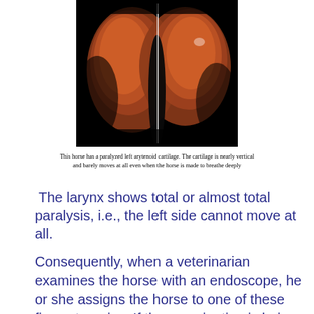[Figure (photo): Endoscopic image of a horse larynx showing a paralyzed left arytenoid cartilage. The cartilage appears nearly vertical in the dark endoscopic view.]
This horse has a paralyzed left arytenoid cartilage. The cartilage is nearly vertical and barely moves at all even when the horse is made to breathe deeply
The larynx shows total or almost total paralysis, i.e., the left side cannot move at all.
Consequently, when a veterinarian examines the horse with an endoscope, he or she assigns the horse to one of these five categories. If the examination is being performed on behalf of a potential purchaser (i.e., before going through the sales ring) the information is relayed to the purchaser or agent and a decision is made as to the